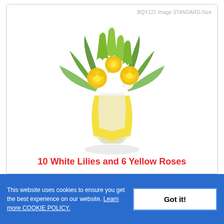[Figure (photo): A bouquet of white lilies and yellow roses wrapped in bright yellow paper with a white bow, on a white background. Label in top-right corner reads: BQY121 Image STANDARD-Size]
10 White Lilies and 6 Yellow Roses
This website uses cookies to ensure you get the best experience on our website. Learn more COOKIE POLICY.
Got it!